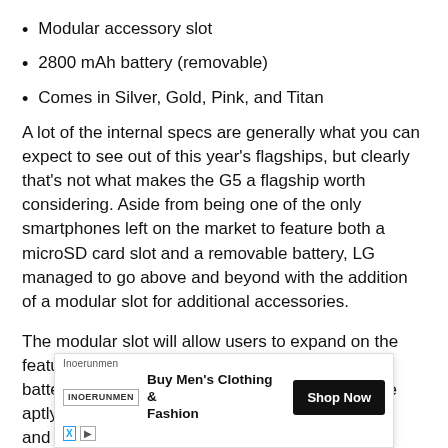Modular accessory slot
2800 mAh battery (removable)
Comes in Silver, Gold, Pink, and Titan
A lot of the internal specs are generally what you can expect to see out of this year’s flagships, but clearly that’s not what makes the G5 a flagship worth considering. Aside from being one of the only smartphones left on the market to feature both a microSD card slot and a removable battery, LG managed to go above and beyond with the addition of a modular slot for additional accessories.
The modular slot will allow users to expand on the features they care about most, such as camera, battery, and audio. Additional accessories that are aptly named “LG Fri…” …es, and ar… – an outc…